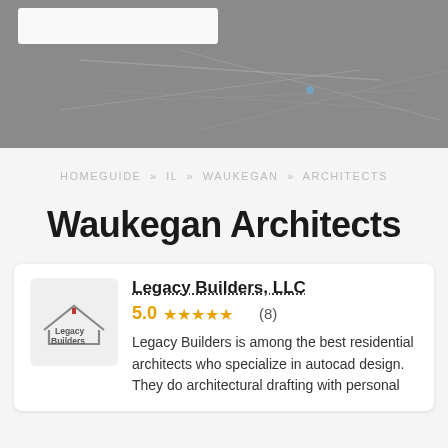[Figure (photo): Hero banner image showing architectural drawings/blueprints on a gray background, with a white search box overlay in the top left]
HOMEGUIDE » IL » WAUKEGAN » ARCHITECTS
Waukegan Architects
[Figure (logo): Legacy Builders logo: house outline with red accent and text 'Legacy Builders']
Legacy Builders, LLC
5.0 ★★★★★ (8)
Legacy Builders is among the best residential architects who specialize in autocad design. They do architectural drafting with personal